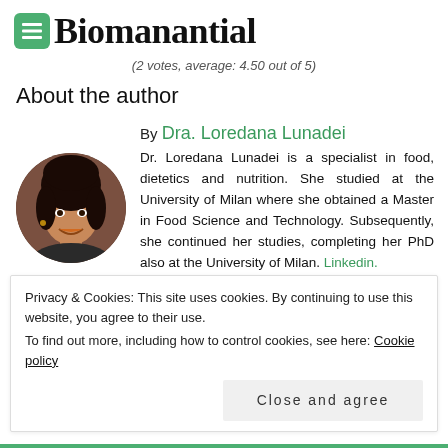Biomanantial
(2 votes, average: 4.50 out of 5)
About the author
[Figure (photo): Circular portrait photo of Dra. Loredana Lunadei, a woman with dark hair, smiling]
By Dra. Loredana Lunadei
Dr. Loredana Lunadei is a specialist in food, dietetics and nutrition. She studied at the University of Milan where she obtained a Master in Food Science and Technology. Subsequently, she continued her studies, completing her PhD also at the University of Milan. Linkedin.
Privacy & Cookies: This site uses cookies. By continuing to use this website, you agree to their use.
To find out more, including how to control cookies, see here: Cookie policy
Close and agree